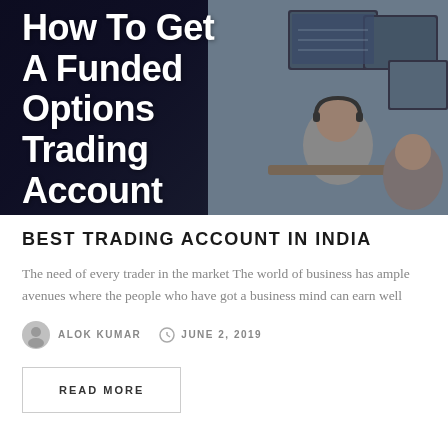[Figure (photo): Hero image of a trading desk with monitors showing charts and data, overlaid with bold white text reading 'How To Get A Funded Options Trading Account'. Dark navy gradient on the left fades to a photo of traders at monitors on the right.]
BEST TRADING ACCOUNT IN INDIA
The need of every trader in the market The world of business has ample avenues where the people who have got a business mind can earn well
ALOK KUMAR   JUNE 2, 2019
READ MORE